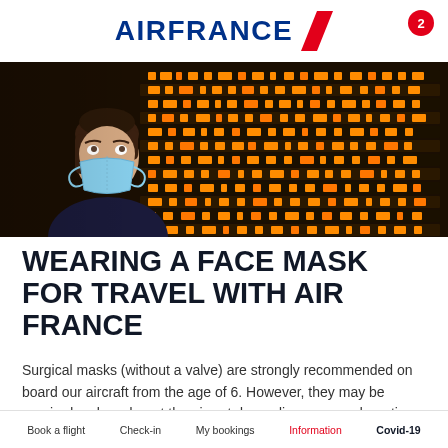AIR FRANCE
[Figure (photo): Woman wearing a blue surgical face mask looking upward, standing in front of an orange airport departures board]
WEARING A FACE MASK FOR TRAVEL WITH AIR FRANCE
Surgical masks (without a valve) are strongly recommended on board our aircraft from the age of 6. However, they may be required on board or at the airport depending on your departing
Book a flight   Check-in   My bookings   Information   Covid-19